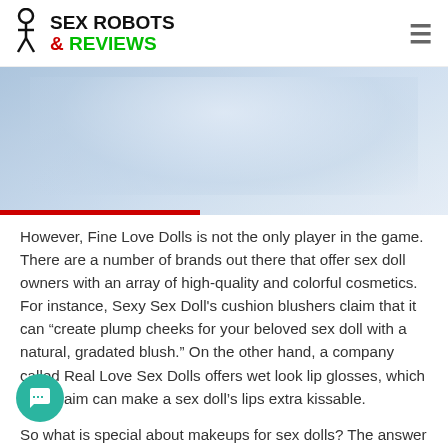SEX ROBOTS & REVIEWS
[Figure (photo): Partial view of a figure draped in a light blue/white fabric, cropped image with a red bar at the bottom left]
However, Fine Love Dolls is not the only player in the game. There are a number of brands out there that offer sex doll owners with an array of high-quality and colorful cosmetics. For instance, Sexy Sex Doll's cushion blushers claim that it can “create plump cheeks for your beloved sex doll with a natural, gradated blush.” On the other hand, a company called Real Love Sex Dolls offers wet look lip glosses, which they claim can make a sex doll’s lips extra kissable.
So what is special about makeups for sex dolls? The answer is nothing. They are just normal makeups that hold very well on TPE and silicone. Other than that, the only thing that makes them different is their packaging.